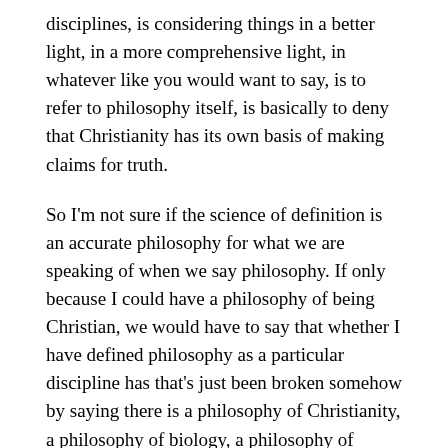disciplines, is considering things in a better light, in a more comprehensive light, in whatever like you would want to say, is to refer to philosophy itself, is basically to deny that Christianity has its own basis of making claims for truth.
So I'm not sure if the science of definition is an accurate philosophy for what we are speaking of when we say philosophy. If only because I could have a philosophy of being Christian, we would have to say that whether I have defined philosophy as a particular discipline has that's just been broken somehow by saying there is a philosophy of Christianity, a philosophy of biology, a philosophy of computer science.